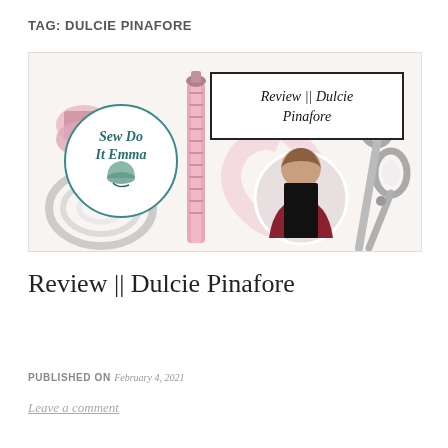TAG: DULCIE PINAFORE
[Figure (illustration): Blog post header image for 'Sew Do It Emma' featuring sewing notions (thread, zipper, scissors, measuring tape, buttons) on a white background. Left side has a circular logo with 'Sew Do It Emma' text and a thimble illustration. Center-right has a rectangular bordered text box reading 'Review || Dulcie Pinafore' in script font. A circular photo of a woman wearing a dark red pinafore dress is inset on the right.]
Review || Dulcie Pinafore
PUBLISHED ON February 4, 2021
Leave a comment